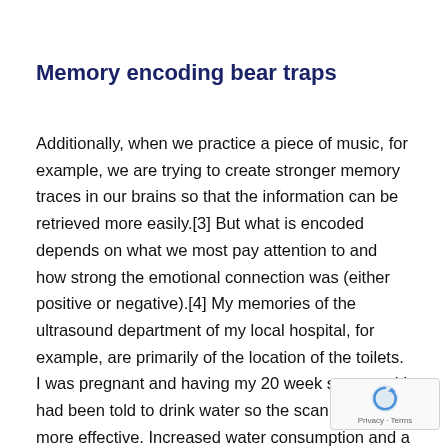Memory encoding bear traps
Additionally, when we practice a piece of music, for example, we are trying to create stronger memory traces in our brains so that the information can be retrieved more easily.[3] But what is encoded depends on what we most pay attention to and how strong the emotional connection was (either positive or negative).[4] My memories of the ultrasound department of my local hospital, for example, are primarily of the location of the toilets. I was pregnant and having my 20 week scan, and I had been told to drink water so the scan would be more effective. Increased water consumption and a squashed